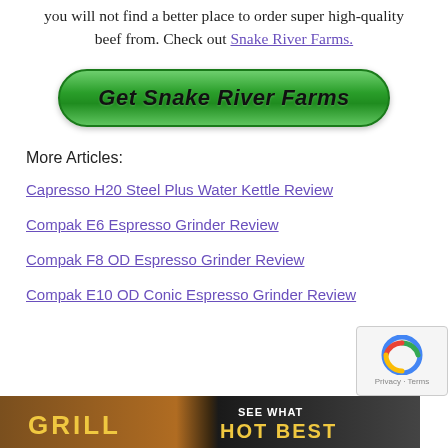you will not find a better place to order super high-quality beef from. Check out Snake River Farms.
[Figure (other): Green rounded button with italic bold black text 'Get Snake River Farms']
More Articles:
Capresso H20 Steel Plus Water Kettle Review
Compak E6 Espresso Grinder Review
Compak F8 OD Espresso Grinder Review
Compak E10 OD Conic Espresso Grinder Review
[Figure (photo): Bottom banner image showing a grill with text 'GRILL' on left side, and 'SEE WHAT' and 'HOT BEST' on the dark right side. A reCAPTCHA privacy widget is overlaid on the bottom right corner.]